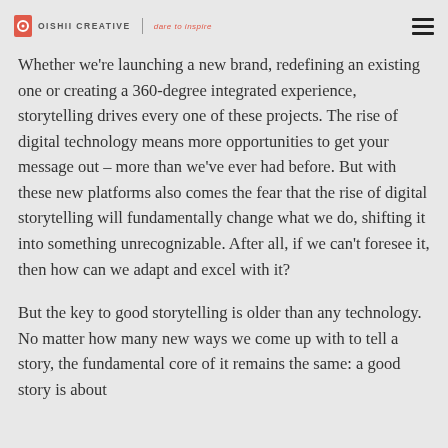OISHII CREATIVE | dare to inspire
Whether we're launching a new brand, redefining an existing one or creating a 360-degree integrated experience, storytelling drives every one of these projects. The rise of digital technology means more opportunities to get your message out – more than we've ever had before. But with these new platforms also comes the fear that the rise of digital storytelling will fundamentally change what we do, shifting it into something unrecognizable. After all, if we can't foresee it, then how can we adapt and excel with it?
But the key to good storytelling is older than any technology. No matter how many new ways we come up with to tell a story, the fundamental core of it remains the same: a good story is about